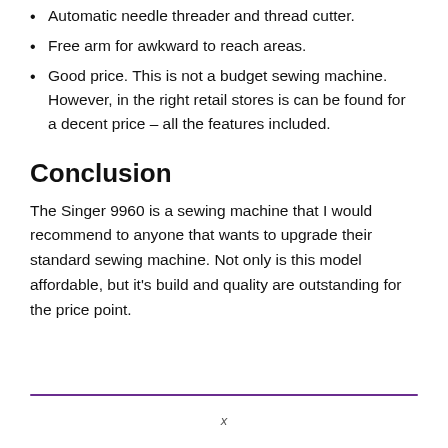Automatic needle threader and thread cutter.
Free arm for awkward to reach areas.
Good price. This is not a budget sewing machine. However, in the right retail stores is can be found for a decent price – all the features included.
Conclusion
The Singer 9960 is a sewing machine that I would recommend to anyone that wants to upgrade their standard sewing machine. Not only is this model affordable, but it's build and quality are outstanding for the price point.